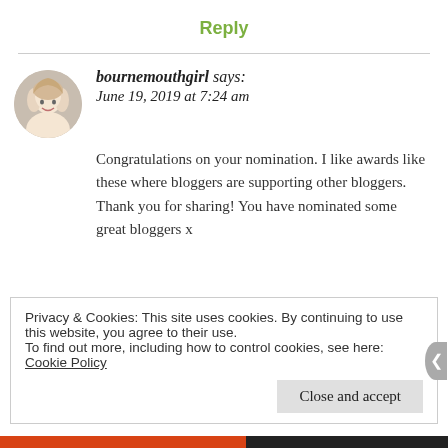Reply
bournemouthgirl says:
June 19, 2019 at 7:24 am
Congratulations on your nomination. I like awards like these where bloggers are supporting other bloggers. Thank you for sharing! You have nominated some great bloggers x
Privacy & Cookies: This site uses cookies. By continuing to use this website, you agree to their use.
To find out more, including how to control cookies, see here: Cookie Policy
Close and accept